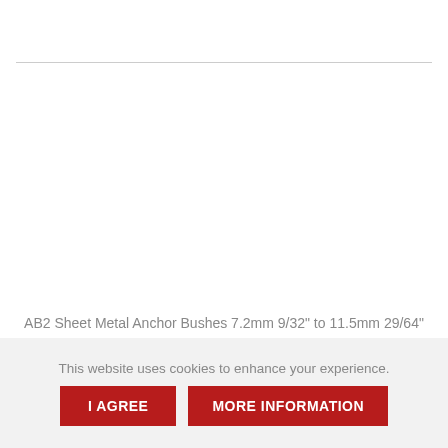AB2 Sheet Metal Anchor Bushes 7.2mm 9/32" to 11.5mm 29/64"
£0.00
This website uses cookies to enhance your experience.
I AGREE
MORE INFORMATION